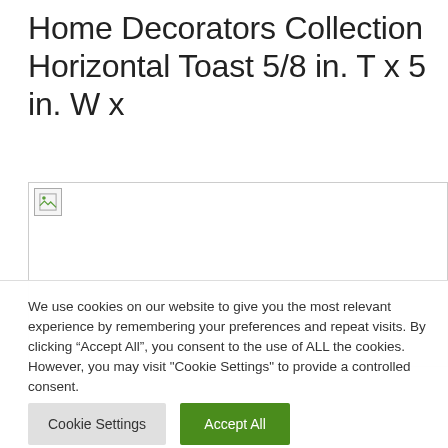Home Decorators Collection Horizontal Toast 5/8 in. T x 5 in. W x
[Figure (photo): Broken image placeholder for Home Decorators Collection product photo]
We use cookies on our website to give you the most relevant experience by remembering your preferences and repeat visits. By clicking “Accept All”, you consent to the use of ALL the cookies. However, you may visit "Cookie Settings" to provide a controlled consent.
Cookie Settings   Accept All